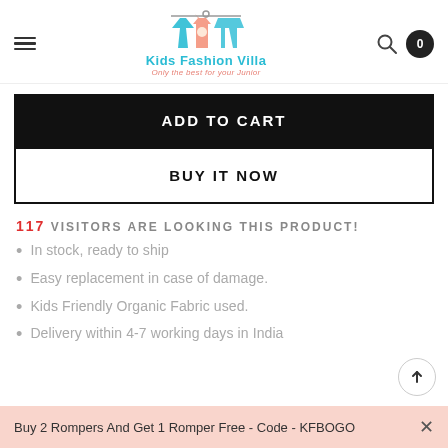Kids Fashion Villa — Only the best for your Junior
ADD TO CART
BUY IT NOW
117 VISITORS ARE LOOKING THIS PRODUCT!
In stock, ready to ship
Easy replacement in case of damage.
Kids Friendly Organic Fabric used.
Delivery within 4-7 working days in India
Buy 2 Rompers And Get 1 Romper Free - Code - KFBOGO